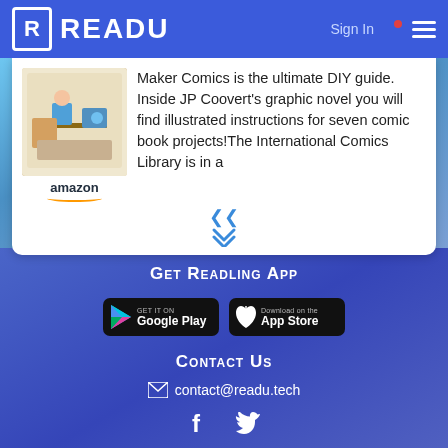READU — Sign In
Maker Comics is the ultimate DIY guide. Inside JP Coovert's graphic novel you will find illustrated instructions for seven comic book projects!The International Comics Library is in a
[Figure (screenshot): Book cover thumbnail with Amazon logo below]
Get Readling App
[Figure (logo): Google Play store download button]
[Figure (logo): Apple App Store download button]
Contact Us
contact@readu.tech
[Figure (infographic): Facebook and Twitter social media icons]